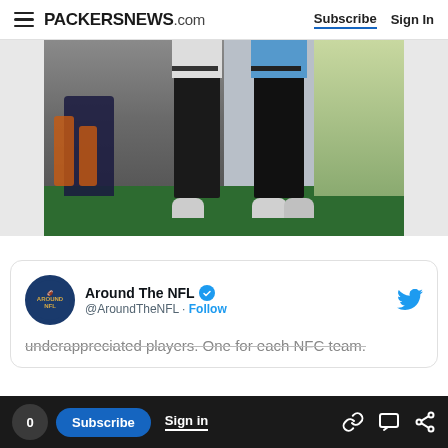PACKERSNEWS.com  Subscribe  Sign In
[Figure (photo): Two golfers at a driving range, one in white shirt and black pants, one in blue shirt and black pants, examining a golf club. Golf bags visible in background.]
Around The NFL @AroundTheNFL · Follow
underappreciated players. One for each NFC team.